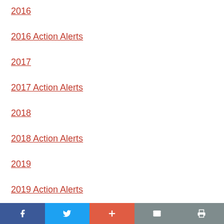2016
2016 Action Alerts
2017
2017 Action Alerts
2018
2018 Action Alerts
2019
2019 Action Alerts
2020
Social sharing bar: Facebook, Twitter, Plus, Email, Print